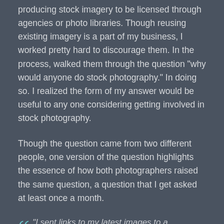producing stock imagery to be licensed through agencies or photo libraries. Though reusing existing imagery is a part of my business, I worked pretty hard to discourage them. In the process, walked them through the question “why would anyone do stock photography.” In doing so. I realized the form of my answer would be useful to any one considering getting involved in stock photography.
Though the question came from two different people, one version of the question highlights the essence of how both photographers raised the same question, a question that I get asked at least once a month.
“I sent links to my latest images to a number of friends; one of them is a retired editor who worked at a book publisher. In response, she wrote to encourage me to try several photo agencies that she said book editors that she knows have used.”